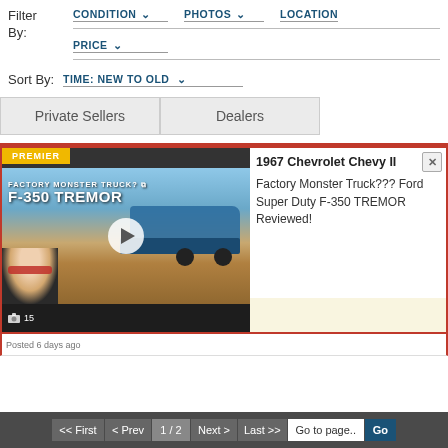Filter By:
CONDITION ∨
PHOTOS ∨
LOCATION
PRICE ∨
Sort By:
TIME: NEW TO OLD ∨
Private Sellers
Dealers
PREMIER
1967 Chevrolet Chevy II
[Figure (screenshot): Video thumbnail showing a Ford F-350 Tremor truck in desert setting with text FACTORY MONSTER TRUCK? F-350 TREMOR and a play button overlay, with a person in sunglasses in the lower left]
Factory Monster Truck??? Ford Super Duty F-350 TREMOR Reviewed!
15
Posted 6 days ago
<< First  < Prev  1 / 2  Next >  Last >>  Go to page..  Go